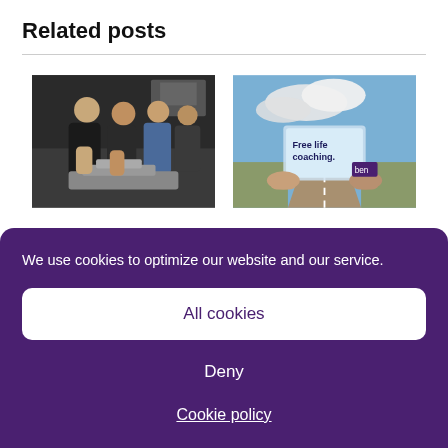Related posts
[Figure (photo): Group of mechanics/technicians working on an engine component in a workshop setting]
[Figure (photo): Hands holding a card showing a road with text 'Free life coaching' and Ben logo]
Schaeffler reveals training
Ben offers money advice
We use cookies to optimize our website and our service.
All cookies
Deny
Cookie policy